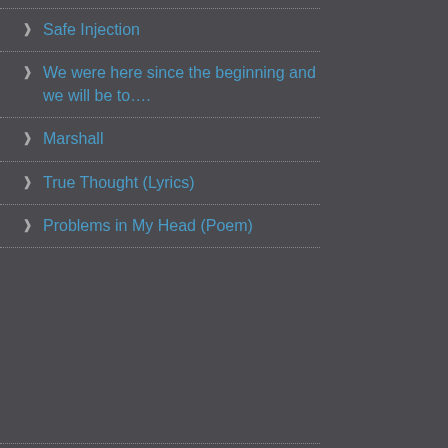Safe Injection
We were here since the beginning and we will be to….
Marshall
True Thought (Lyrics)
Problems in My Head (Poem)